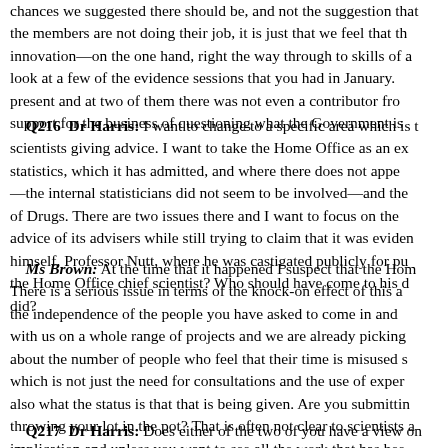chances we suggested there should be, and not the suggestion that the members are not doing their job, it is just that we feel that the innovation—on the one hand, right the way through to skills of a look at a few of the evidence sessions that you had in January. present and at two of them there was not even a contributor from support for the business of questioning what the Government is
Q216  Dr Harris: I want to change to a specific area which is t scientists giving advice. I want to take the Home Office as an ex statistics, which it has admitted, and where there does not appe —the internal statisticians did not seem to be involved—and the of Drugs. There are two issues there and I want to focus on the advice of its advisers while still trying to claim that it was eviden himself, Professor Nutt, where he was castigated publicly for pu the Home Office chief scientist? Who should have come to his d did?
Ms Brown: At the time that it happened I suspect that the Hom There is a serious issue in terms of the knock-on effect of this a the independence of the people you have asked to come in and with us on a whole range of projects and we are already picking about the number of people who feel that their time is misused s which is not just the need for consultations and the use of exper also what the status is that that is being given. Are you submittin throwing your lot in the pot? That is often not clear to scientists a implication and unless you want to see all the work that has bee to policy-making, then that is something you are going to have t
Q217  Dr Harris: Does either of the two of you have a view on